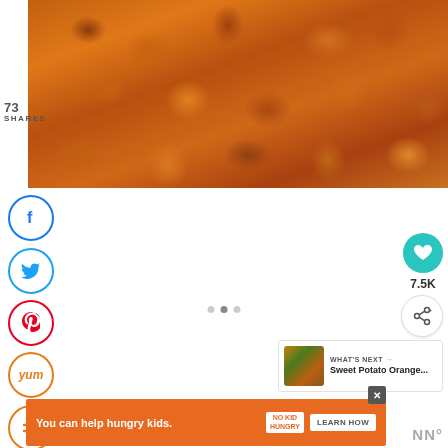[Figure (photo): Overhead view of roasted sweet potato cubes on a baking sheet, golden-brown and caramelized]
73 SHARES
[Figure (other): Facebook share button circle icon (blue)]
[Figure (other): Twitter share button circle icon (blue)]
[Figure (other): Pinterest save button circle icon (red)]
[Figure (other): Yummly share button circle icon (orange)]
[Figure (other): Mix share button circle icon (orange)]
[Figure (other): Heart/save button teal circle with count 7.5K]
[Figure (other): Share button circle with share icon]
[Figure (other): What's Next card showing Sweet Potato Orange... with thumbnail]
[Figure (other): Three pagination dots]
[Figure (other): Advertisement banner: You can help hungry kids. No Kid Hungry. LEARN HOW]